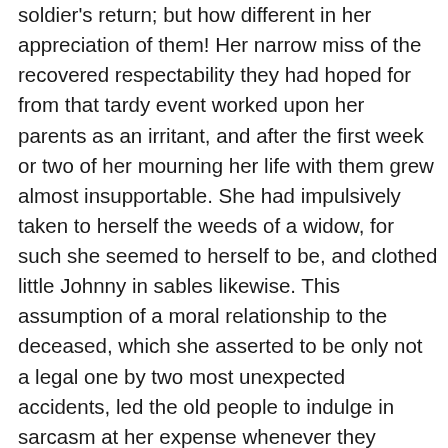soldier's return; but how different in her appreciation of them! Her narrow miss of the recovered respectability they had hoped for from that tardy event worked upon her parents as an irritant, and after the first week or two of her mourning her life with them grew almost insupportable. She had impulsively taken to herself the weeds of a widow, for such she seemed to herself to be, and clothed little Johnny in sables likewise. This assumption of a moral relationship to the deceased, which she asserted to be only not a legal one by two most unexpected accidents, led the old people to indulge in sarcasm at her expense whenever they beheld her attire, though all the while it cost them more pain to utter than it gave her to hear it. Having become accustomed by her residence at home to the business carried on by her father, she surprised them one day by going off with the child to Chalk-Newton, in the direction of the town of Ivell, and opening a miniature fruit and vegetable shop, attending Ivell market with her produce. Her business grew somewhat larger, and it was soon sufficient to enable her to support